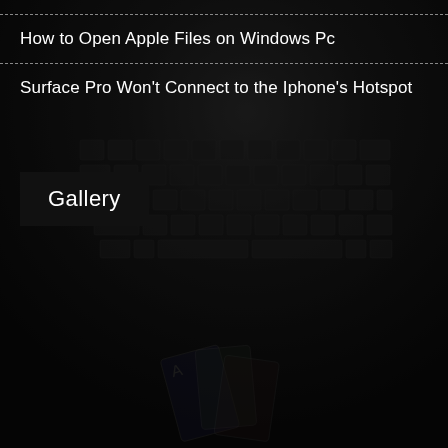[Figure (photo): Dark background image of a laptop keyboard, dimly lit, with some playing card graphics visible in the lower center area.]
How to Open Apple Files on Windows Pc
Surface Pro Won't Connect to the Iphone's Hotspot
Gallery